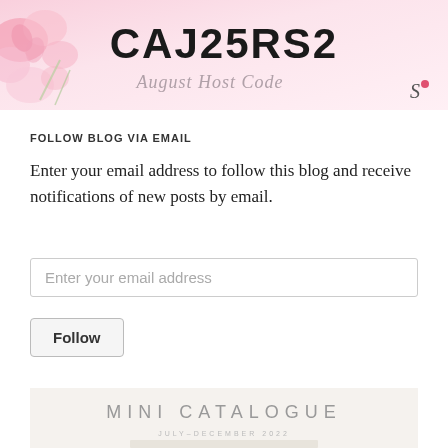[Figure (illustration): Banner image with pink floral watercolor decorations on the left, large bold text 'CAJ25RS2' in the center, cursive italic text 'August Host Code' below it, and a small signature 'S' with a red dot on the right.]
FOLLOW BLOG VIA EMAIL
Enter your email address to follow this blog and receive notifications of new posts by email.
Enter your email address
Follow
[Figure (illustration): Mini catalogue banner with beige/cream background, large light grey text 'MINI CATALOGUE', smaller text 'JULY-DECEMBER 2022' below, and a partial product image at the bottom.]